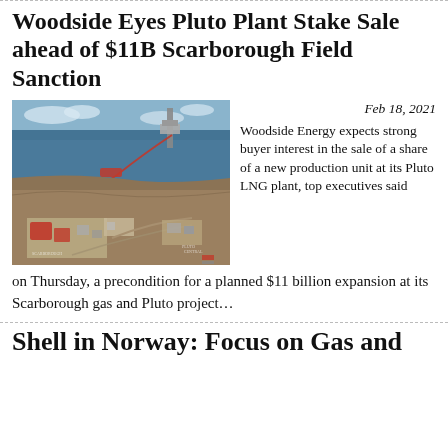Woodside Eyes Pluto Plant Stake Sale ahead of $11B Scarborough Field Sanction
[Figure (photo): Aerial photograph of Pluto LNG plant and Scarborough gas field offshore installation, showing coastal industrial facility with red-highlighted structures and pipeline route to an offshore platform.]
Feb 18, 2021 Woodside Energy expects strong buyer interest in the sale of a share of a new production unit at its Pluto LNG plant, top executives said on Thursday, a precondition for a planned $11 billion expansion at its Scarborough gas and Pluto project…
Shell in Norway: Focus on Gas and